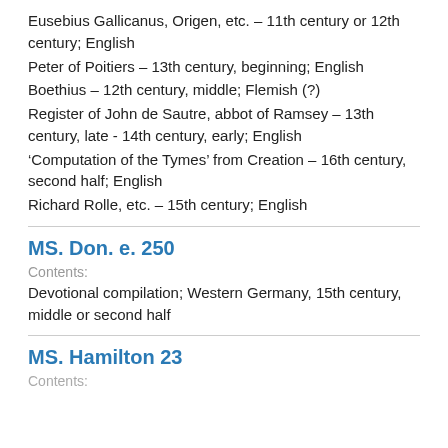Eusebius Gallicanus, Origen, etc. – 11th century or 12th century; English
Peter of Poitiers – 13th century, beginning; English
Boethius – 12th century, middle; Flemish (?)
Register of John de Sautre, abbot of Ramsey – 13th century, late - 14th century, early; English
'Computation of the Tymes' from Creation – 16th century, second half; English
Richard Rolle, etc. – 15th century; English
MS. Don. e. 250
Contents:
Devotional compilation; Western Germany, 15th century, middle or second half
MS. Hamilton 23
Contents: